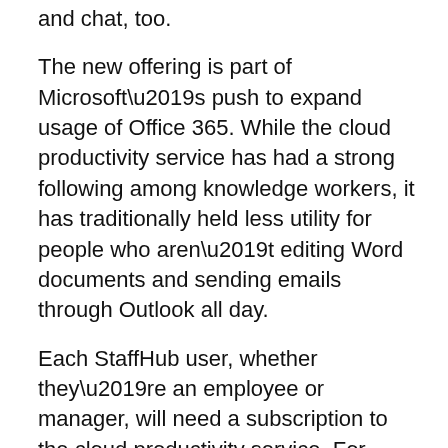and chat, too.
The new offering is part of Microsoft’s push to expand usage of Office 365. While the cloud productivity service has had a strong following among knowledge workers, it has traditionally held less utility for people who aren’t editing Word documents and sending emails through Outlook all day.
Each StaffHub user, whether they’re an employee or manager, will need a subscription to the cloud productivity service. For deskless workers, enterprises can purchase Microsoft’s Office 365 K1 plan, which costs $5 per user per month, and doesn’t include access to the Office desktop apps. StaffHub is also available through Microsoft’s E1, E3, and E5 plans.